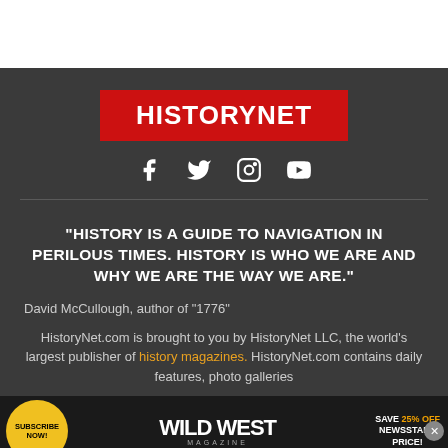[Figure (logo): HistoryNet logo — white bold text on red rectangle background]
[Figure (infographic): Social media icons: Facebook, Twitter, Instagram, YouTube in white on dark background]
“HISTORY IS A GUIDE TO NAVIGATION IN PERILOUS TIMES. HISTORY IS WHO WE ARE AND WHY WE ARE THE WAY WE ARE.”
David McCullough, author of “1776”
HistoryNet.com is brought to you by HistoryNet LLC, the world’s largest publisher of history magazines. HistoryNet.com contains daily features, photo galleries
[Figure (infographic): Wild West Magazine advertisement banner: Subscribe Now! button, Wild West Magazine title, Save 25% Off Newsstand Price offer]